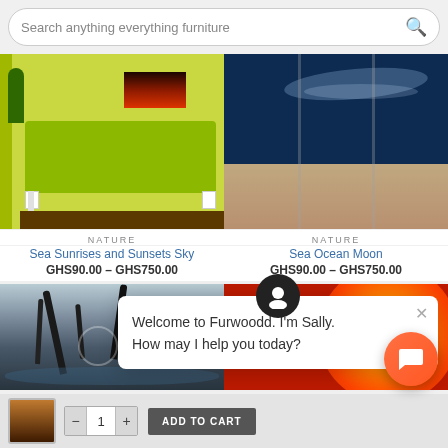[Figure (screenshot): Search bar with placeholder text 'Search anything everything furniture' and magnifying glass icon]
[Figure (photo): Green sofa against yellow wall with a dark sunset painting above it — left product image]
NATURE
Sea Sunrises and Sunsets Sky
GHS90.00 – GHS750.00
[Figure (photo): Three-panel canvas of moonlit ocean/sea at night — right product image]
NATURE
Sea Ocean Moon
GHS90.00 – GHS750.00
[Figure (photo): Winter forest with bare dark trees and a stream — bottom left product image]
[Figure (photo): Close-up of the sun with orange and red flame surface — bottom right product image]
Welcome to Furwoodd. I'm Sally. How may I help you today?
[Figure (screenshot): Add to cart bar with thumbnail, quantity selector showing 1, and ADD TO CART button]